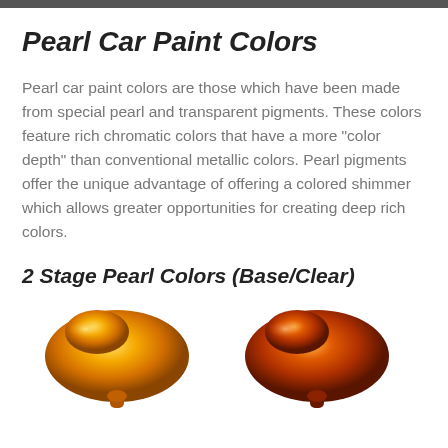Pearl Car Paint Colors
Pearl car paint colors are those which have been made from special pearl and transparent pigments.  These colors feature rich chromatic colors that have a more "color depth" than conventional metallic colors.  Pearl pigments offer the unique advantage of offering a colored shimmer which allows greater opportunities for creating deep rich colors.
2 Stage Pearl Colors (Base/Clear)
[Figure (photo): Two pearl car paint color teardrop/blob shaped display pieces - one golden yellow-orange pearl and one deeper orange-red pearl, shown from a slightly elevated angle on a white background.]